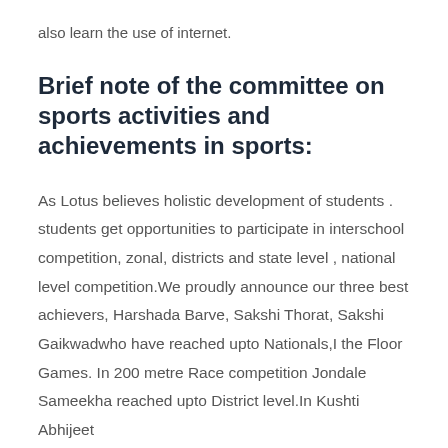also learn the use of internet.
Brief note of the committee on sports activities and achievements in sports:
As Lotus believes holistic development of students . students get opportunities to participate in interschool competition, zonal, districts and state level , national level competition.We proudly announce our three best achievers, Harshada Barve, Sakshi Thorat, Sakshi Gaikwadwho have reached upto Nationals,I the Floor Games. In 200 metre Race competition Jondale Sameekha reached upto District level.In Kushti Abhijeet